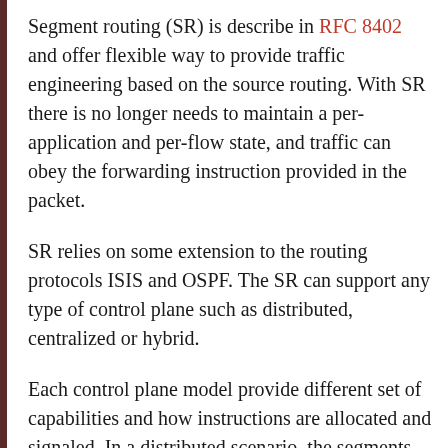Segment routing (SR) is describe in RFC 8402 and offer flexible way to provide traffic engineering based on the source routing. With SR there is no longer needs to maintain a per-application and per-flow state, and traffic can obey the forwarding instruction provided in the packet.
SR relies on some extension to the routing protocols ISIS and OSPF. The SR can support any type of control plane such as distributed, centralized or hybrid.
Each control plane model provide different set of capabilities and how instructions are allocated and signaled. In a distributed scenario, the segments are allocated and signaled by IS-IS or OSPF or BGP